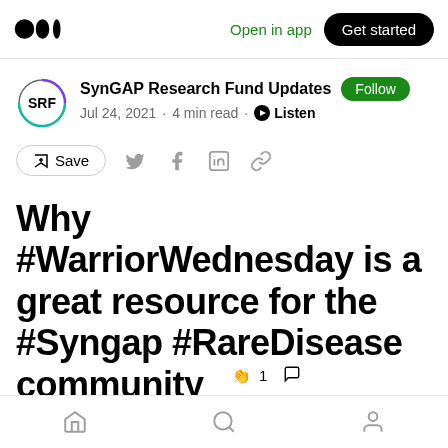Open in app  Get started
SynGAP Research Fund Updates  Follow
Jul 24, 2021 · 4 min read · Listen
Save
Why #WarriorWednesday is a great resource for the #Syngap #RareDisease community
Home  Search  Profile